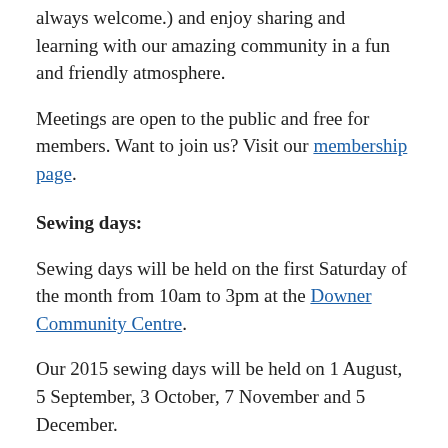always welcome.) and enjoy sharing and learning with our amazing community in a fun and friendly atmosphere.
Meetings are open to the public and free for members. Want to join us? Visit our membership page.
Sewing days:
Sewing days will be held on the first Saturday of the month from 10am to 3pm at the Downer Community Centre.
Our 2015 sewing days will be held on 1 August, 5 September, 3 October, 7 November and 5 December.
Come to a sewing day and you can hang out with awesome quilty people while you catch up on your